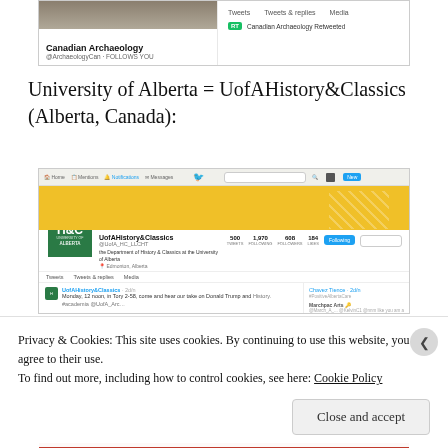[Figure (screenshot): Twitter/social media profile card for 'Canadian Archaeology' (@ArchaeologyCan) showing Tweets, Tweets & replies, Media tabs, and a 'Canadian Archaeology Retweeted' entry]
University of Alberta = UofAHistory&Classics (Alberta, Canada):
[Figure (screenshot): Twitter profile page for @UofAHistory&Classics showing H&C logo, yellow banner, tweet stats (500 tweets, 1,970 following, 608 followers, 184 likes), and a tweet about Monday 12 noon in Tory 2-58 discussing Donald Trump]
Privacy & Cookies: This site uses cookies. By continuing to use this website, you agree to their use.
To find out more, including how to control cookies, see here: Cookie Policy
Close and accept